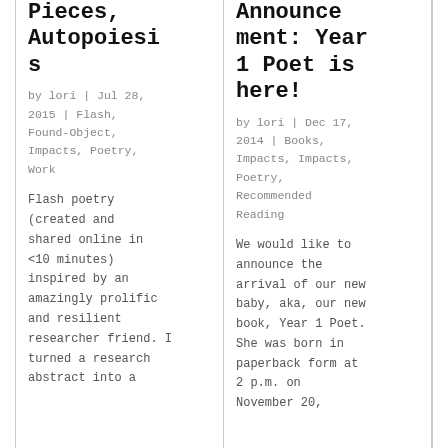Pieces, Autopoiesis
by lori | Jul 28, 2015 | Flash, Found-Object, Impacts, Poetry, Work
Flash poetry (created and shared online in <10 minutes) inspired by an amazingly prolific and resilient researcher friend. I turned a research abstract into a
Announcement: Year 1 Poet is here!
by lori | Dec 17, 2014 | Books, Impacts, Impacts, Poetry, Recommended Reading
We would like to announce the arrival of our new baby, aka, our new book, Year 1 Poet. She was born in paperback form at 2 p.m. on November 20,